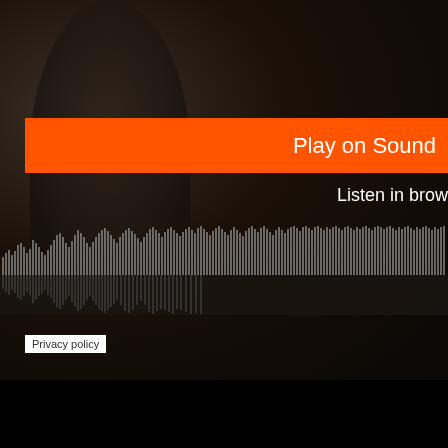[Figure (screenshot): SoundCloud player screenshot showing a dark background with a silhouetted figure, an orange 'Play on Sound' button, 'Listen in brow' text in white, and an audio waveform visualization at the bottom.]
Play on Sound
Listen in brow
Privacy policy